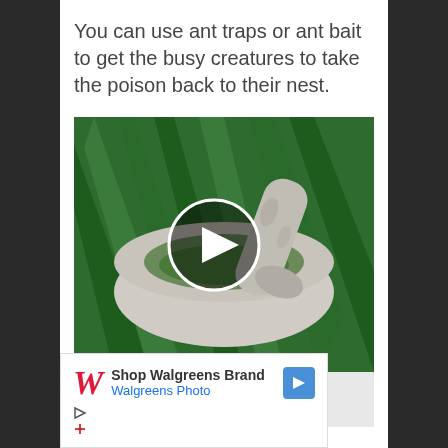You can use ant traps or ant bait to get the busy creatures to take the poison back to their nest.
[Figure (photo): Photo of a stone mortar and pestle with green herbs/weeds being ground, overlaid with a circular play button indicating a video. Below the image is a caption reading 'These Backyard Weeds']
[Figure (other): Advertisement for Walgreens Brand / Walgreens Photo with the Walgreens W logo and a blue navigation arrow icon]